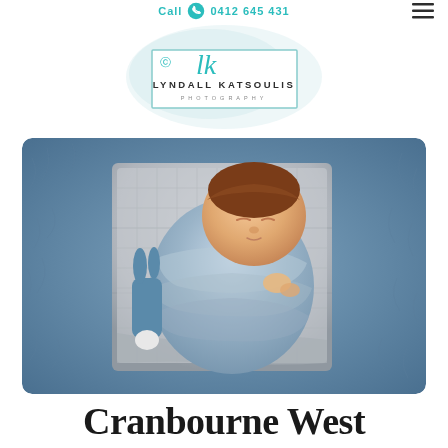Call 0412 645 431
[Figure (logo): Lyndall Katsoulis Photography logo with teal script 'lk' initials above the boxed text 'LYNDALL KATSOULIS PHOTOGRAPHY' on a watercolor background]
[Figure (photo): Newborn baby swaddled in a light blue wrap, sleeping in a small gray wooden crate on a blue fluffy fur rug, with a small blue bunny toy beside them]
Cranbourne West